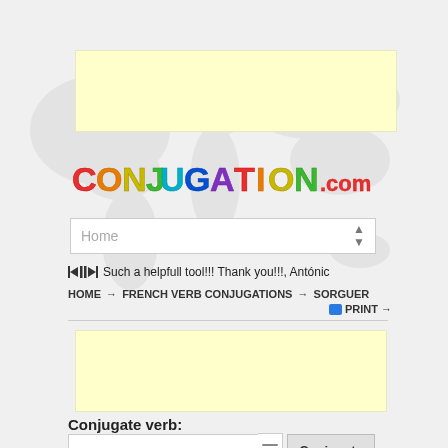[Figure (other): Light gray world map watermark background]
[Figure (other): Yellow advertisement banner (top)]
[Figure (logo): CONJUGATION.com colorful bubble-letter logo]
Home
Such a helpfull tool!!! Thank you!!!, Antónic
HOME → FRENCH VERB CONJUGATIONS → SORGUER
PRINT →
[Figure (other): Yellow advertisement banner (bottom)]
Conjugate verb:
sorguer
Conjugate